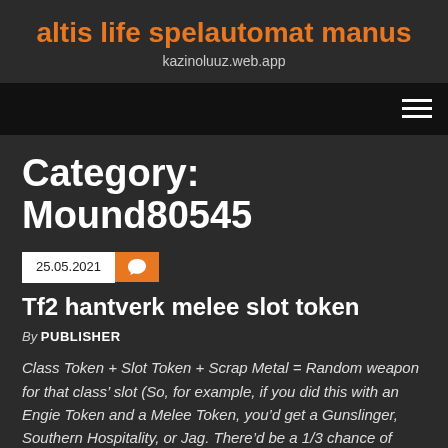altis life spelautomat manus
kazinoluuz.web.app
Category: Mound80545
25.05.2021
Tf2 hantverk melee slot token
By PUBLISHER
Class Token + Slot Token + Scrap Metal = Random weapon for that class’ slot (So, for example, if you did this with an Engie Token and a Melee Token, you’d get a Gunslinger, Southern Hospitality, or Jag. There’d be a 1/3 chance of